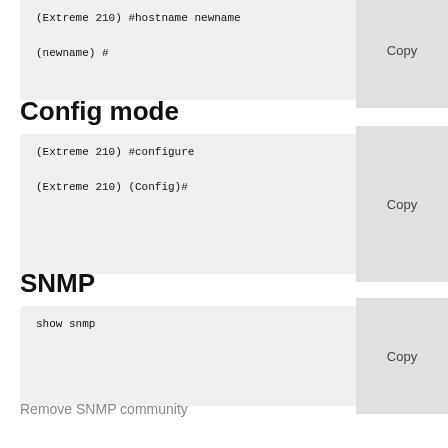(Extreme 210) #hostname newname
(newname) #
Config mode
(Extreme 210) #configure
(Extreme 210) (Config)#
SNMP
show snmp
Remove SNMP community